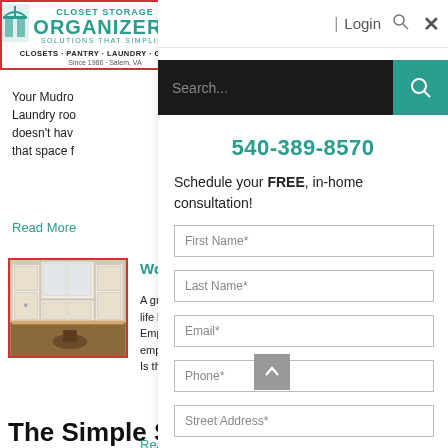[Figure (logo): Closet Storage Organizers logo with teal hanger icons, tagline CLOSETS·PANTRY·LAUNDRY·GARAGE, Since 1986 - Salem, VA]
Your Mudro... Laundry roo... doesn't hav... that space f...
Read More
[Figure (photo): Photo of white built-in cabinet/bookcase with desk and drawers]
Working ...
A growing n... life balance... Employers a... employees o... Is the "of...
Read More
The Simple Sto
| Login 🔍 ✕
[Figure (screenshot): Search bar with dark background and teal search button]
540-389-8570
Schedule your FREE, in-home consultation!
First Name*
Last Name*
Email*
Phone*
Street Address*